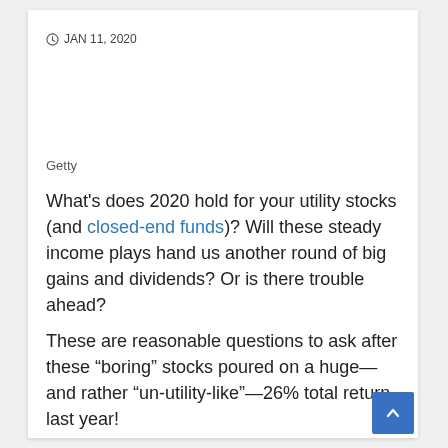JAN 11, 2020
Getty
What’s does 2020 hold for your utility stocks (and closed-end funds)? Will these steady income plays hand us another round of big gains and dividends? Or is there trouble ahead?
These are reasonable questions to ask after these “boring” stocks poured on a huge—and rather “un-utility-like”—26% total return last year!